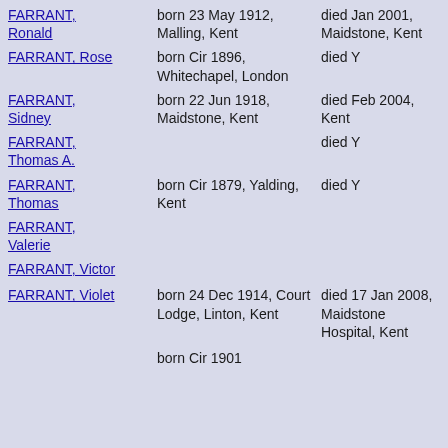FARRANT, Ronald | born 23 May 1912, Malling, Kent | died Jan 2001, Maidstone, Kent
FARRANT, Rose | born Cir 1896, Whitechapel, London | died Y
FARRANT, Sidney | born 22 Jun 1918, Maidstone, Kent | died Feb 2004, Kent
FARRANT, Thomas A. | | died Y
FARRANT, Thomas | born Cir 1879, Yalding, Kent | died Y
FARRANT, Valerie | |
FARRANT, Victor | |
FARRANT, Violet | born 24 Dec 1914, Court Lodge, Linton, Kent | died 17 Jan 2008, Maidstone Hospital, Kent
| born Cir 1901 |